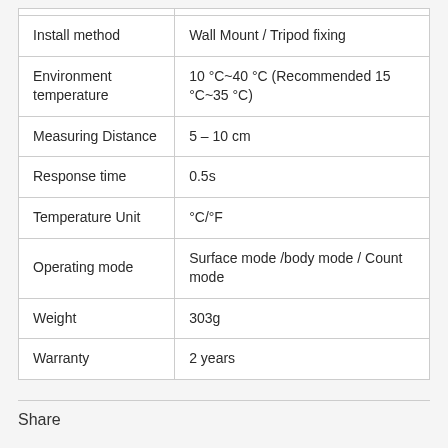| Property | Value |
| --- | --- |
| Install method | Wall Mount / Tripod fixing |
| Environment temperature | 10 °C~40 °C (Recommended 15 °C~35 °C) |
| Measuring Distance | 5 – 10 cm |
| Response time | 0.5s |
| Temperature Unit | °C/°F |
| Operating mode | Surface mode /body mode / Count mode |
| Weight | 303g |
| Warranty | 2 years |
Share